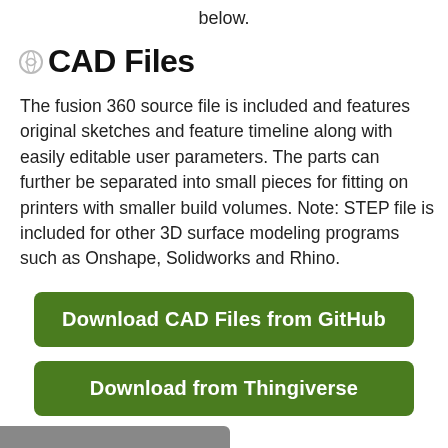below.
CAD Files
The fusion 360 source file is included and features original sketches and feature timeline along with easily editable user parameters. The parts can further be separated into small pieces for fitting on printers with smaller build volumes. Note: STEP file is included for other 3D surface modeling programs such as Onshape, Solidworks and Rhino.
Download CAD Files from GitHub
Download from Thingiverse